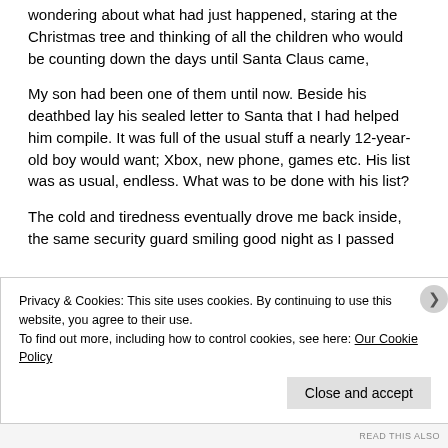wondering about what had just happened, staring at the Christmas tree and thinking of all the children who would be counting down the days until Santa Claus came,
My son had been one of them until now. Beside his deathbed lay his sealed letter to Santa that I had helped him compile. It was full of the usual stuff a nearly 12-year-old boy would want; Xbox, new phone, games etc. His list was as usual, endless. What was to be done with his list?
The cold and tiredness eventually drove me back inside, the same security guard smiling good night as I passed
Privacy & Cookies: This site uses cookies. By continuing to use this website, you agree to their use.
To find out more, including how to control cookies, see here: Our Cookie Policy
Close and accept